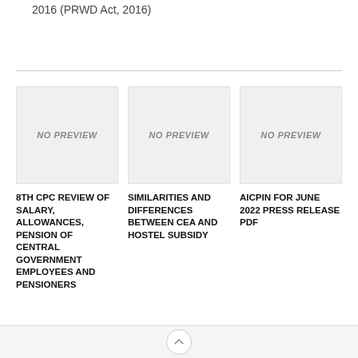2016 (PRWD Act, 2016)
[Figure (other): No preview image placeholder for 8TH CPC REVIEW OF SALARY, ALLOWANCES, PENSION OF CENTRAL GOVERNMENT EMPLOYEES AND PENSIONERS]
8TH CPC REVIEW OF SALARY, ALLOWANCES, PENSION OF CENTRAL GOVERNMENT EMPLOYEES AND PENSIONERS
[Figure (other): No preview image placeholder for SIMILARITIES AND DIFFERENCES BETWEEN CEA AND HOSTEL SUBSIDY]
SIMILARITIES AND DIFFERENCES BETWEEN CEA AND HOSTEL SUBSIDY
[Figure (other): No preview image placeholder for AICPIN FOR JUNE 2022 PRESS RELEASE PDF]
AICPIN FOR JUNE 2022 PRESS RELEASE PDF